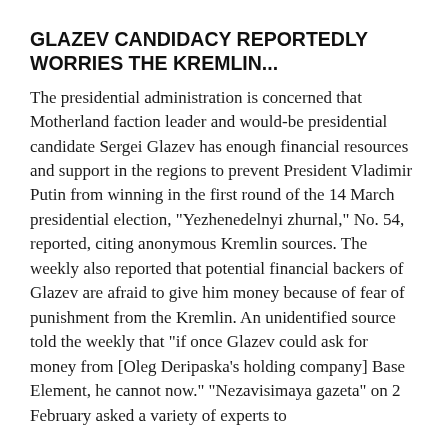GLAZEV CANDIDACY REPORTEDLY WORRIES THE KREMLIN...
The presidential administration is concerned that Motherland faction leader and would-be presidential candidate Sergei Glazev has enough financial resources and support in the regions to prevent President Vladimir Putin from winning in the first round of the 14 March presidential election, "Yezhenedelnyi zhurnal," No. 54, reported, citing anonymous Kremlin sources. The weekly also reported that potential financial backers of Glazev are afraid to give him money because of fear of punishment from the Kremlin. An unidentified source told the weekly that "if once Glazev could ask for money from [Oleg Deripaska's holding company] Base Element, he cannot now." "Nezavisimaya gazeta" on 2 February asked a variety of experts to